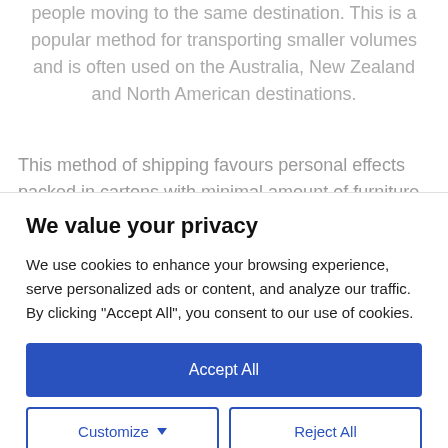people moving to the same destination. This is a popular method for transporting smaller volumes and is often used on the Australia, New Zealand and North American destinations.
This method of shipping favours personal effects packed in cartons with minimal amount of furniture. You would not move glass cabinets, fine crystal and sensitive electrical...
We value your privacy
We use cookies to enhance your browsing experience, serve personalized ads or content, and analyze our traffic. By clicking "Accept All", you consent to our use of cookies.
Accept All
Customize
Reject All